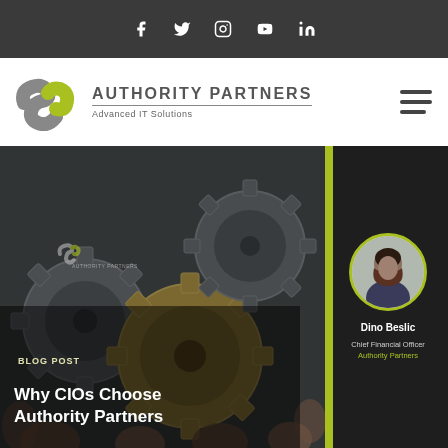Social media icons: Facebook, Twitter, Instagram, YouTube, LinkedIn
[Figure (logo): Authority Partners logo with stylized S-shaped icon in gray and lime green, company name 'AUTHORITY PARTNERS' in bold gray uppercase, tagline 'Advanced IT Solutions']
[Figure (photo): Blog post hero image showing hands holding interlocking gears/cogs on a dark background. Overlay text reads 'BLOG POST' and 'Why CIOs Choose Authority Partners'. Right panel shows author Dino Beslic, Chief Financial Officer at Authority Partners, with a circular profile photo.]
Why CIOs Choose Authority Partners
BLOG POST
Dino Beslic
Chief Financial Officer
Authority Partners